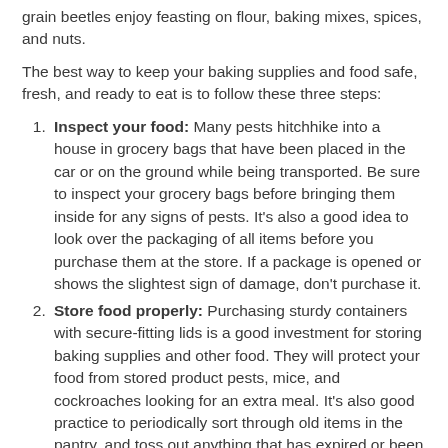grain beetles enjoy feasting on flour, baking mixes, spices, and nuts.
The best way to keep your baking supplies and food safe, fresh, and ready to eat is to follow these three steps:
Inspect your food: Many pests hitchhike into a house in grocery bags that have been placed in the car or on the ground while being transported. Be sure to inspect your grocery bags before bringing them inside for any signs of pests. It’s also a good idea to look over the packaging of all items before you purchase them at the store. If a package is opened or shows the slightest sign of damage, don’t purchase it.
Store food properly: Purchasing sturdy containers with secure-fitting lids is a good investment for storing baking supplies and other food. They will protect your food from stored product pests, mice, and cockroaches looking for an extra meal. It’s also good practice to periodically sort through old items in the pantry, and toss out anything that has expired or been left open for a long time.
Clean up your kitchen: Immediately wipe up any crumbs or spills from countertops, tables, floors,